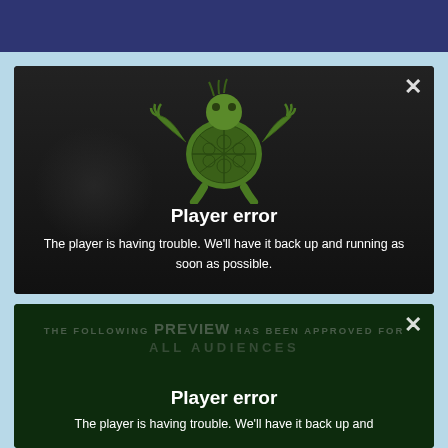[Figure (screenshot): Video player error overlay showing a green cartoon turtle with arms outstretched on a dark background. Displays 'Player error' title and message: 'The player is having trouble. We'll have it back up and running as soon as possible.' with an X close button.]
[Figure (screenshot): Second video player error overlay with dark green background showing MPAA-style preview approval text ('THE FOLLOWING PREVIEW HAS BEEN APPROVED FOR ALL AUDIENCES') overlaid with 'Player error' title and partial message 'The player is having trouble. We'll have it back up and' with an X close button.]